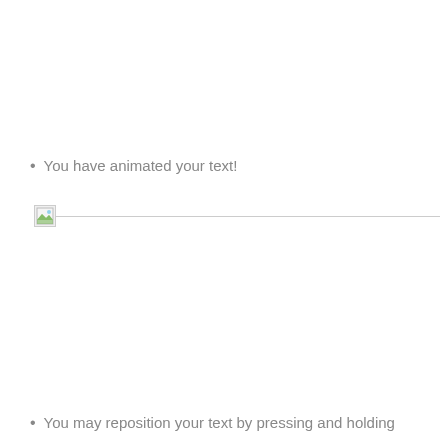You have animated your text!
[Figure (illustration): A broken image icon followed by a horizontal divider line]
You may reposition your text by pressing and holding